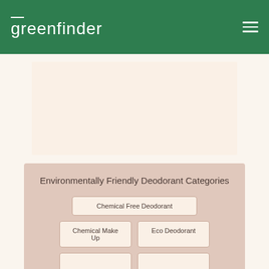greenfinder
[Figure (other): Blank placeholder content area below the header navigation]
Environmentally Friendly Deodorant Categories
Chemical Free Deodorant
Chemical Make Up
Eco Deodorant